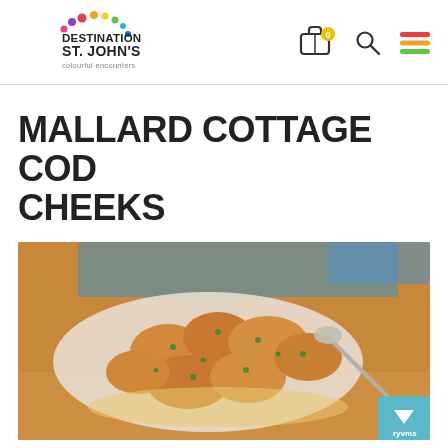Destination St. John's - colourful encounters
MALLARD COTTAGE COD CHEEKS
[Figure (photo): A plate of golden fried cod cheeks garnished with chopped fresh herbs, served in a white oval dish with a cream sauce visible at the bottom. The background shows a restaurant table setting with blue and orange accents.]